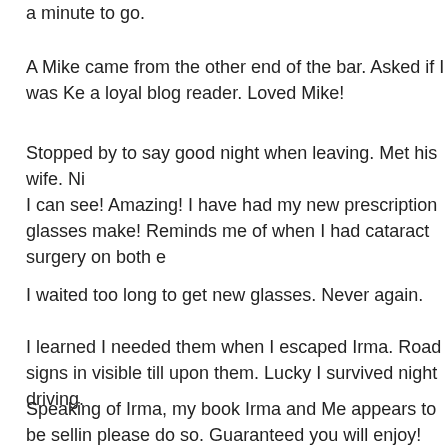a minute to go.
A Mike came from the other end of the bar. Asked if I was Ke a loyal blog reader. Loved Mike!
Stopped by to say good night when leaving. Met his wife. Ni
I can see! Amazing! I have had my new prescription glasses make! Reminds me of when I had cataract surgery on both e
I waited too long to get new glasses. Never again.
I learned I needed them when I escaped Irma. Road signs in visible till upon them. Lucky I survived night driving.
Speaking of Irma, my book Irma and Me appears to be sellin please do so. Guaranteed you will enjoy! Amazon.com, Bar Kobobooks.com.